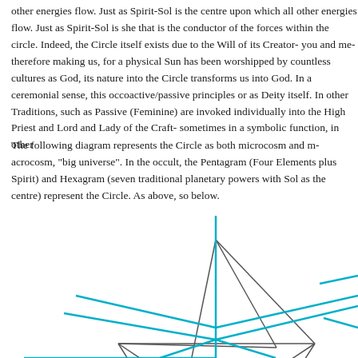other energies flow. Just as Spirit-Sol is the centre upon which all other energies flow. Just as Spirit-Sol is she that is the conductor of the forces within the circle. Indeed, the Circle itself exists due to the Will of its Creator- you and me- therefore making us, for a physical Sun has been worshipped by countless cultures as God, its nature into the Circle transforms us into God. In a ceremonial sense, this occurs active/passive principles or as Deity itself. In other Traditions, such as Passive (Feminine) are invoked individually into the High Priest and Lord and Lady of the Craft- sometimes in a symbolic function, in others
The following diagram represents the Circle as both microcosm and macrocosm, "big universe". In the occult, the Pentagram (Four Elements plus Spirit) and Hexagram (seven traditional planetary powers with Sol as the centre) represent the Circle. As above, so below.
[Figure (illustration): A geometric diagram showing a pentagram (five-pointed star) and hexagram (six-pointed star) overlaid. The pentagram lines are drawn in gray/dark, while additional lines extending outward are drawn in cyan/teal. The diagram is partially cropped at the right edge. It represents the Circle as both microcosm and macrocosm with Pentagram and Hexagram overlaid.]